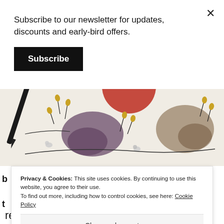Subscribe to our newsletter for updates, discounts and early-bird offers.
Subscribe
[Figure (illustration): Watercolor illustration with ink pen, abstract organic shapes in purple and brown tones, autumn floral motifs, DAS brand logo]
Privacy & Cookies: This site uses cookies. By continuing to use this website, you agree to their use.
To find out more, including how to control cookies, see here: Cookie Policy
Close and accept
recommend, you will help us running this